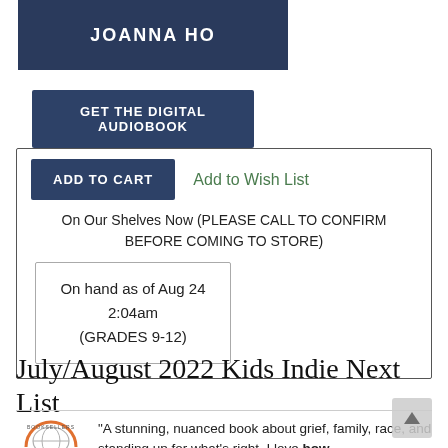[Figure (photo): Book cover image with dark blue background and author name JOANNA HO in white bold text]
GET THE DIGITAL AUDIOBOOK
ADD TO CART
Add to Wish List
On Our Shelves Now (PLEASE CALL TO CONFIRM BEFORE COMING TO STORE)
On hand as of Aug 24 2:04am (GRADES 9-12)
July/August 2022 Kids Indie Next List
“A stunning, nuanced book about grief, family, race, and standing up for what’s right. I love how